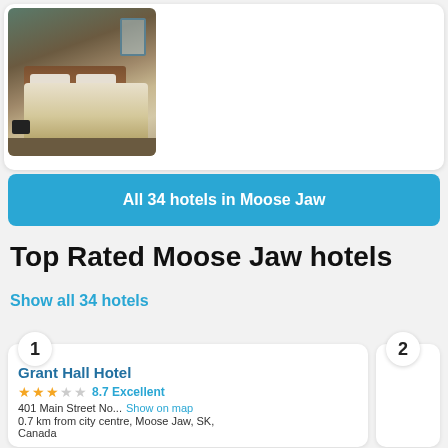[Figure (photo): Hotel room photo showing a bed with white pillows, brown headboard, and carpeted floor]
★★☆☆☆  7.6 Good
1590 Main Street North, ...   Show on map
1.2 km from city centre, Moose Jaw, SK, Canada
Boasting a Jacuzzi and an indoor pool, Heritage Inn
View Deals
All 34 hotels in Moose Jaw
Top Rated Moose Jaw hotels
Show all 34 hotels
1
Grant Hall Hotel
★★★☆☆  8.7 Excellent
401 Main Street No...   Show on map
0.7 km from city centre, Moose Jaw, SK, Canada
2